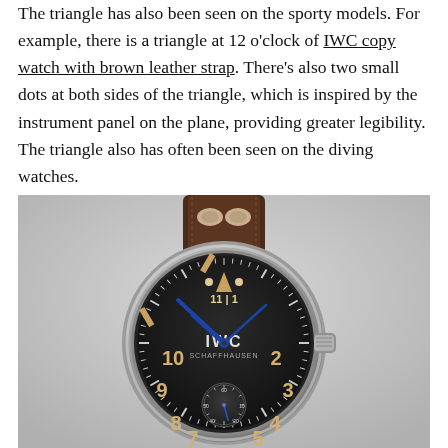The triangle has also been seen on the sporty models. For example, there is a triangle at 12 o'clock of IWC copy watch with brown leather strap. There's also two small dots at both sides of the triangle, which is inspired by the instrument panel on the plane, providing greater legibility. The triangle also has often been seen on the diving watches.
[Figure (photo): IWC Schaffhausen pilot's watch with black dial, triangle marker at 12 o'clock with two dots, blue hands, cream-colored numerals, sub-seconds dial at 6 o'clock, and brown leather strap with rivet details. Steel case with crown on the right.]